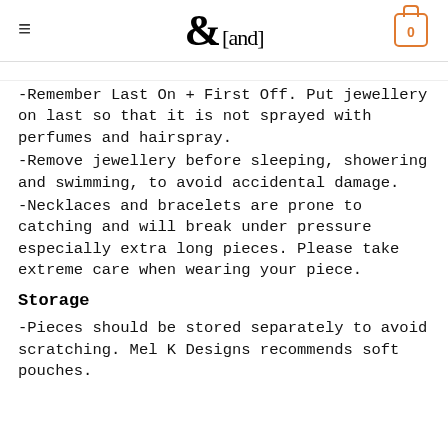&[and]
-Remember Last On + First Off. Put jewellery on last so that it is not sprayed with perfumes and hairspray.
-Remove jewellery before sleeping, showering and swimming, to avoid accidental damage.
-Necklaces and bracelets are prone to catching and will break under pressure especially extra long pieces. Please take extreme care when wearing your piece.
Storage
-Pieces should be stored separately to avoid scratching. Mel K Designs recommends soft pouches.